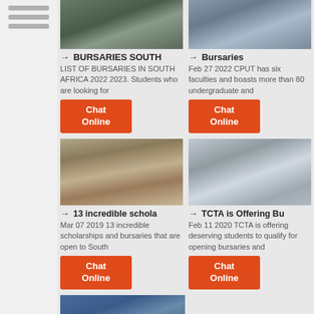[Figure (photo): Top-left article image showing industrial/mining equipment]
→ BURSARIES SOUTH
LIST OF BURSARIES IN SOUTH AFRICA 2022 2023. Students who are looking for
[Figure (other): Chat Online button (orange)]
[Figure (photo): Top-right article image showing industrial equipment/machinery]
→ Bursaries
Feb 27 2022  CPUT has six faculties and boasts more than 80 undergraduate and
[Figure (other): Chat Online button (orange)]
[Figure (photo): Middle-left article image showing quarry/mining site]
→ 13 incredible schola
Mar 07 2019  13 incredible scholarships and bursaries that are open to South
[Figure (other): Chat Online button (orange)]
[Figure (photo): Middle-right article image showing industrial milling equipment]
→ TCTA is Offering Bu
Feb 11 2020  TCTA is offering deserving students to qualify for opening bursaries and
[Figure (other): Chat Online button (orange)]
[Figure (photo): Bottom-left partial image showing blue machinery]